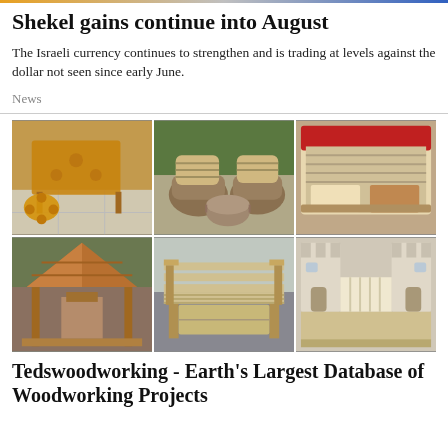Shekel gains continue into August
The Israeli currency continues to strengthen and is trading at levels against the dollar not seen since early June.
News
[Figure (photo): Grid of 6 woodworking project photos: puzzle-piece table, barrel chairs, storage bed, wooden gazebo, garden bench, castle bed]
Tedswoodworking - Earth's Largest Database of Woodworking Projects